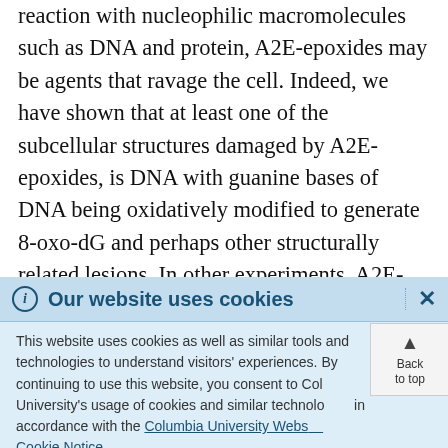reaction with nucleophilic macromolecules such as DNA and protein, A2E-epoxides may be agents that ravage the cell. Indeed, we have shown that at least one of the subcellular structures damaged by A2E-epoxides, is DNA with guanine bases of DNA being oxidatively modified to generate 8-oxo-dG and perhaps other structurally related lesions. In other experiments, A2E-epoxides have been shown to generate products of lipid peroxidation in RPE cells. The mediation of light
[Figure (screenshot): Cookie consent banner overlay with header 'Our website uses cookies', body text about cookies and Columbia University, link to Columbia University Website Cookie Notice, and a 'Back to top' button.]